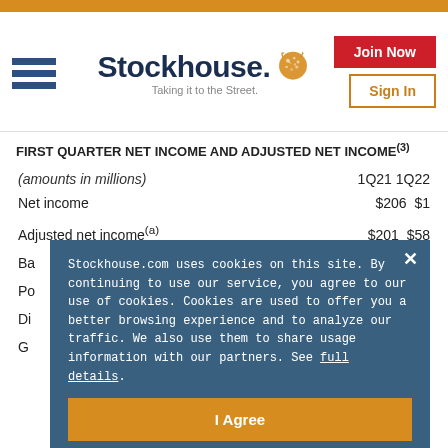Stockhouse. Taking it to the Street.
FIRST QUARTER NET INCOME AND ADJUSTED NET INCOME(3)
| (amounts in millions) | 1Q21 | 1Q22 |
| --- | --- | --- |
| Net income | $206 | $1 |
| Adjusted net income(a) | $201 | $58 |
| Ba... |  | 9 |
| Po... |  |  |
| Di... |  | 4 |
| G... |  | 0 |